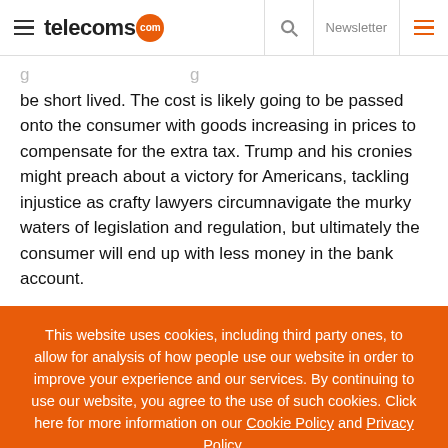telecoms.com — Newsletter
be short lived. The cost is likely going to be passed onto the consumer with goods increasing in prices to compensate for the extra tax. Trump and his cronies might preach about a victory for Americans, tackling injustice as crafty lawyers circumnavigate the murky waters of legislation and regulation, but ultimately the consumer will end up with less money in the bank account.
This website uses cookies, including third party ones, to allow for analysis of how people use our website in order to improve your experience and our services. By continuing to use our website, you agree to the use of such cookies. Click here for more information on our Cookie Policy and Privacy Policy.